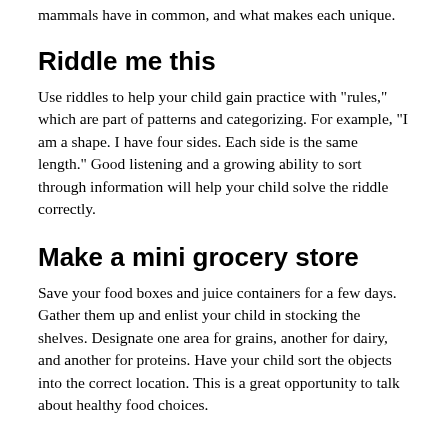mammals have in common, and what makes each unique.
Riddle me this
Use riddles to help your child gain practice with "rules," which are part of patterns and categorizing. For example, "I am a shape. I have four sides. Each side is the same length." Good listening and a growing ability to sort through information will help your child solve the riddle correctly.
Make a mini grocery store
Save your food boxes and juice containers for a few days. Gather them up and enlist your child in stocking the shelves. Designate one area for grains, another for dairy, and another for proteins. Have your child sort the objects into the correct location. This is a great opportunity to talk about healthy food choices.